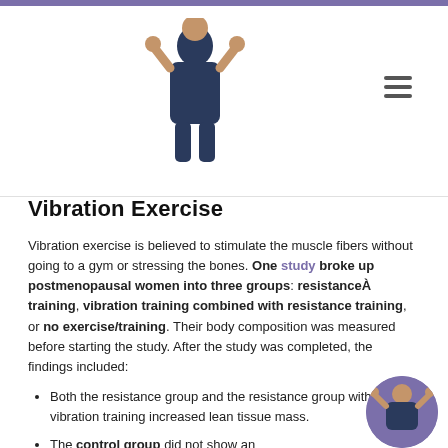Header with logo and navigation
Vibration Exercise
Vibration exercise is believed to stimulate the muscle fibers without going to a gym or stressing the bones. One study broke up postmenopausal women into three groups: resistanceÀ training, vibration training combined with resistance training, or no exercise/training. Their body composition was measured before starting the study. After the study was completed, the findings included:
Both the resistance group and the resistance group with vibration training increased lean tissue mass.
The control group did not show an